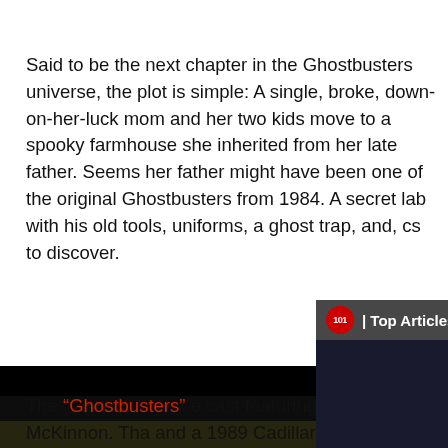Said to be the next chapter in the Ghostbusters universe, the plot is simple: A single, broke, down-on-her-luck mom and her two kids move to a spooky farmhouse she inherited from her late father. Seems her father might have been one of the original Ghostbusters from 1984. A secret lab with his old tools, uniforms, a ghost trap, and, c[obscured]s to discover.
[Figure (screenshot): Top Articles video widget overlay showing a palm tree-lined driveway at night with a red-lit building, with playback controls and a red arrow navigation button]
The “Ghostbusters” [obscured] cast featuring Melis[obscured] Kate McKinnon. Tha[obscured] and a 1989 Cadilla[obscured]
[Figure (photo): Dark landscape/field photo at bottom of page]